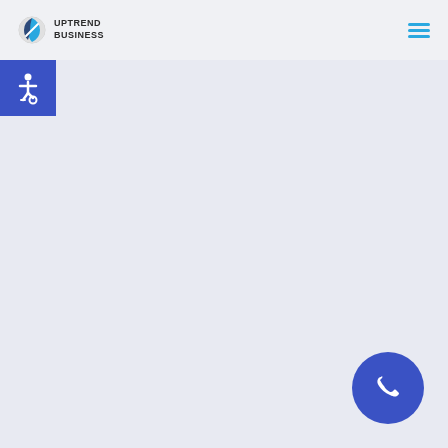[Figure (logo): Uptrend Business logo with circular icon and text 'UPTREND BUSINESS']
[Figure (other): Hamburger menu icon (three horizontal cyan lines)]
[Figure (other): Blue square accessibility icon with wheelchair symbol]
[Figure (other): Blue circular phone/call button with telephone handset icon]